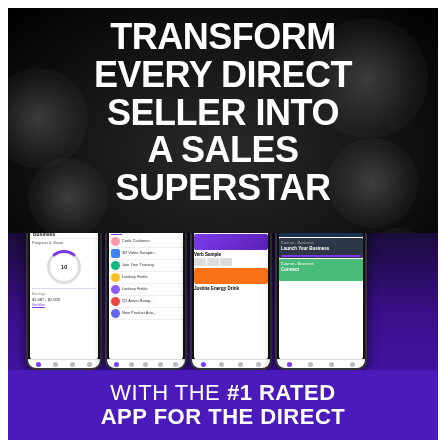[Figure (infographic): Advertisement for a direct selling mobile app. Dark background with bokeh lights in top half, showing headline text 'TRANSFORM EVERY DIRECT SELLER INTO A SALES SUPERSTAR'. Bottom half shows four smartphone mockups displaying app screens (Business, Feed, Samples, and content training screens) over a purple gradient background. Bottom text reads 'WITH THE #1 RATED APP FOR THE DIRECT...' in white on purple.]